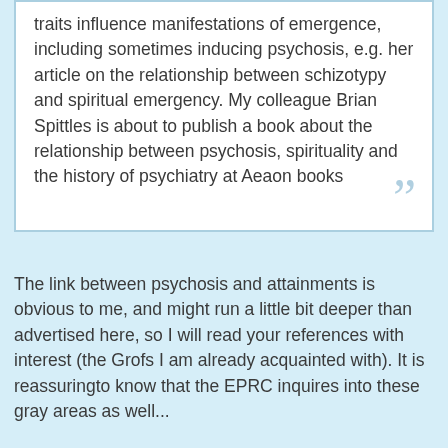traits influence manifestations of emergence, including sometimes inducing psychosis, e.g. her article on the relationship between schizotypy and spiritual emergency. My colleague Brian Spittles is about to publish a book about the relationship between psychosis, spirituality and the history of psychiatry at Aeaon books
The link between psychosis and attainments is obvious to me, and might run a little bit deeper than advertised here, so I will read your references with interest (the Grofs I am already acquainted with). It is reassuringto know that the EPRC inquires into these gray areas as well...